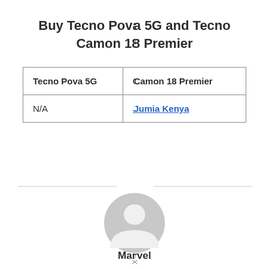Buy Tecno Pova 5G and Tecno Camon 18 Premier
| Tecno Pova 5G | Camon 18 Premier |
| N/A | Jumia Kenya |
[Figure (illustration): Generic user avatar: grey circle with a simplified person silhouette (head circle and shoulders arc) in lighter grey, with horizontal lines flanking the avatar.]
Marvel